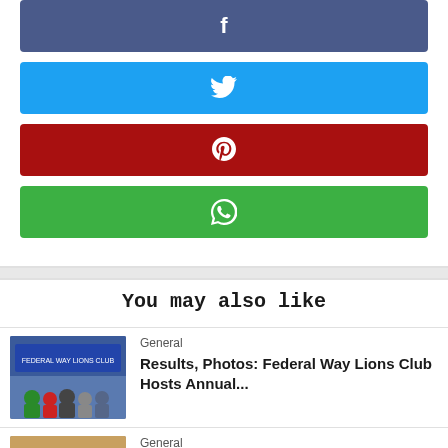[Figure (other): Facebook share button (dark blue/indigo background with white Facebook 'f' icon)]
[Figure (other): Twitter share button (bright blue background with white Twitter bird icon)]
[Figure (other): Pinterest share button (dark red background with white Pinterest 'p' icon)]
[Figure (other): WhatsApp share button (green background with white WhatsApp phone icon)]
You may also like
[Figure (photo): Group of people standing in front of a blue tent/banner at Federal Way Lions Club event]
General
Results, Photos: Federal Way Lions Club Hosts Annual...
[Figure (photo): NASCAR race cars on Daytona track, aerial view]
General
Coke Zero Sugar 400 at Daytona: Austin Dillon scores...